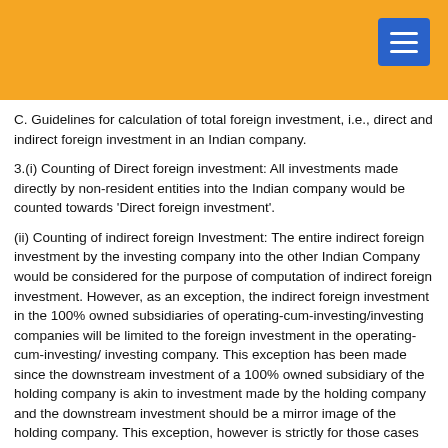C. Guidelines for calculation of total foreign investment, i.e., direct and indirect foreign investment in an Indian company.
3.(i) Counting of Direct foreign investment: All investments made directly by non-resident entities into the Indian company would be counted towards 'Direct foreign investment'.
(ii) Counting of indirect foreign Investment: The entire indirect foreign investment by the investing company into the other Indian Company would be considered for the purpose of computation of indirect foreign investment. However, as an exception, the indirect foreign investment in the 100% owned subsidiaries of operating-cum-investing/investing companies will be limited to the foreign investment in the operating-cum-investing/ investing company. This exception has been made since the downstream investment of a 100% owned subsidiary of the holding company is akin to investment made by the holding company and the downstream investment should be a mirror image of the holding company. This exception, however is strictly for those cases where the entire capital of the downstream subsidiary is owned by the holding company.